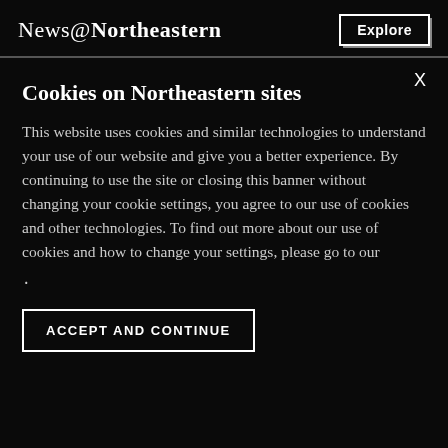News@Northeastern
X
Cookies on Northeastern sites
This website uses cookies and similar technologies to understand your use of our website and give you a better experience. By continuing to use the site or closing this banner without changing your cookie settings, you agree to our use of cookies and other technologies. To find out more about our use of cookies and how to change your settings, please go to our
.
ACCEPT AND CONTINUE